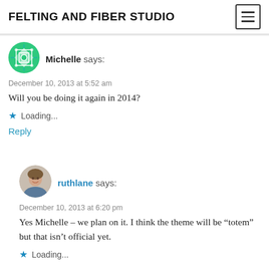FELTING AND FIBER STUDIO
[Figure (illustration): Green geometric avatar icon for Michelle]
Michelle says:
December 10, 2013 at 5:52 am
Will you be doing it again in 2014?
Loading...
Reply
[Figure (photo): Round avatar photo of ruthlane, a woman smiling]
ruthlane says:
December 10, 2013 at 6:20 pm
Yes Michelle – we plan on it. I think the theme will be “totem” but that isn’t official yet.
Loading...